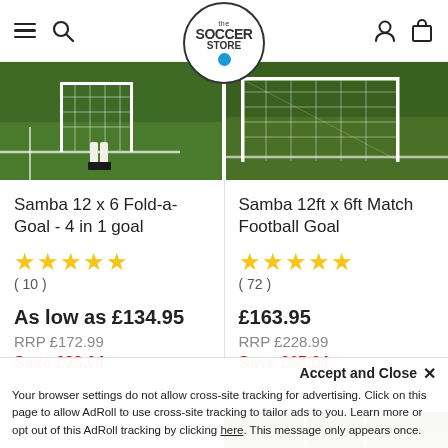the Soccer Store — navigation header
[Figure (photo): Two soccer goals on grass field — product images for Samba goals]
Samba 12 x 6 Fold-a-Goal - 4 in 1 goal
★★★★★ ( 10 )
As low as £134.95
RRP £172.99
Save £38.04
Samba 12ft x 6ft Match Football Goal
★★★★★ ( 72 )
£163.95
RRP £228.99
Save £65.04
[Figure (photo): Partial photo of a football goal, bottom of page]
Accept and Close ✕
Your browser settings do not allow cross-site tracking for advertising. Click on this page to allow AdRoll to use cross-site tracking to tailor ads to you. Learn more or opt out of this AdRoll tracking by clicking here. This message only appears once.